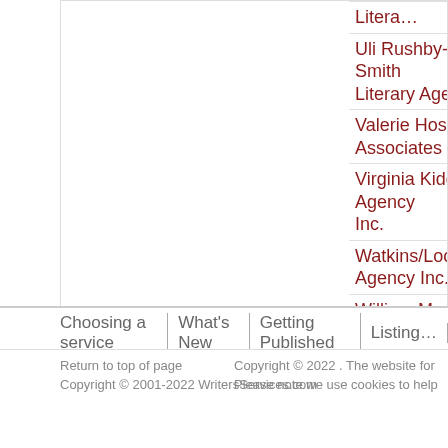| Agency (col 1) | Agency (col 2) |
| --- | --- |
| Litera… |  |
| Uli Rushby-Smith Literary Agency | Unite… |
| Valerie Hoskins Associates Ltd | Vanes… |
| Virginia Kidd Agency Inc. | Wade… Litera… |
| Watkins/Loomis Agency Inc. | Wats… |
| William Morris Agency (UK) Ltd | Willia… Agen… |
| Writers House LLC | Write… |
Choosing a service | What's New | Getting Published | Listing…
Return to top of page
Copyright © 2001-2022 WritersServices.com
Copyright © 2022 . The website for
Please note we use cookies to help